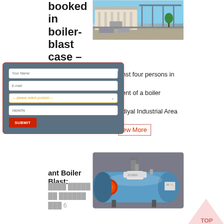booked in boiler-blast case – The Hindu
[Figure (photo): Photo of an industrial building/facility exterior with parking area, blue sky visible]
nst four persons in ent of a boiler diyal Industrial Area
[Figure (screenshot): Contact form modal with fields: Your Name, E-mail, product selector dropdown, capacity, and SUBMIT button. Dark blue-grey background with red border.]
ew More
ant Boiler Blast:
████ █████ ██ ██████ ███ 6
[Figure (photo): Industrial boiler equipment - cylindrical boiler with blue/red/white coloring and machinery components]